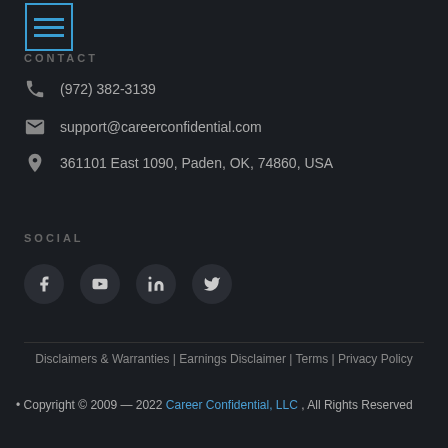CONTACT
(972) 382-3139
support@careerconfidential.com
361101 East 1090, Paden, OK, 74860, USA
SOCIAL
[Figure (other): Social media icons: Facebook, YouTube, LinkedIn, Twitter]
Disclaimers & Warranties | Earnings Disclaimer | Terms | Privacy Policy
• Copyright © 2009 — 2022 Career Confidential, LLC , All Rights Reserved